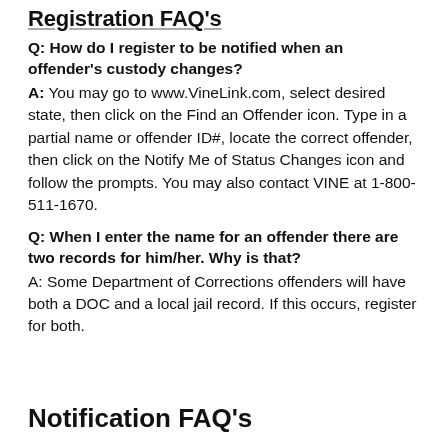Registration FAQ's
Q: How do I register to be notified when an offender's custody changes?
A: You may go to www.VineLink.com, select desired state, then click on the Find an Offender icon. Type in a partial name or offender ID#, locate the correct offender, then click on the Notify Me of Status Changes icon and follow the prompts. You may also contact VINE at 1-800-511-1670.
Q: When I enter the name for an offender there are two records for him/her. Why is that?
A: Some Department of Corrections offenders will have both a DOC and a local jail record. If this occurs, register for both.
Notification FAQ's